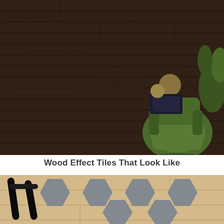[Figure (photo): Overhead view of dark brown wood-effect floor tiles with a green armchair, decorative globe, and plant visible in the upper right corner]
Wood Effect Tiles That Look Like
[Figure (photo): Close-up top-down view of light wood-effect tiles with geometric grey hexagonal inlay pattern and black chair legs visible]